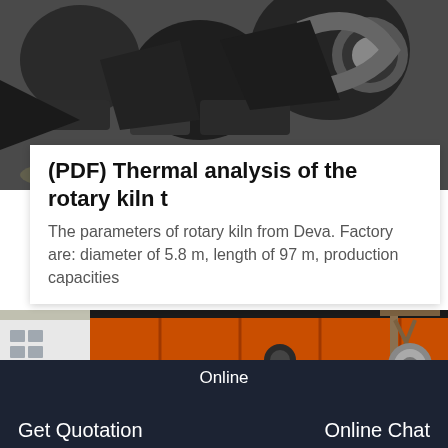[Figure (photo): Close-up photograph of industrial rotary kiln machinery components, dark metal parts with cylindrical and curved shapes]
(PDF) Thermal analysis of the rotary kiln t
The parameters of rotary kiln from Deva. Factory are: diameter of 5.8 m, length of 97 m, production capacities
[Figure (photo): Orange and black industrial rotary kiln equipment/housing outdoors with industrial crane structure in background]
Online
Get Quotation
Online Chat